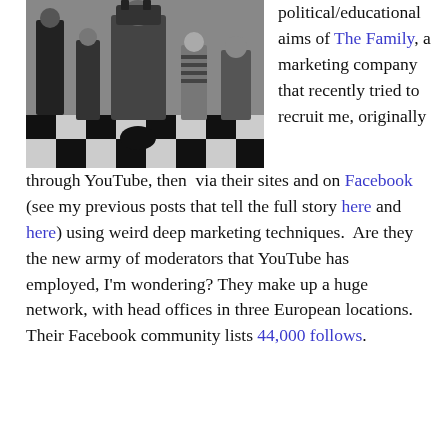[Figure (photo): Black and white photograph of a group of people (the Addams Family characters) posed on a black and white checkered floor. The image includes adults and children in dark clothing.]
political/educational aims of The Family, a marketing company that recently tried to recruit me, originally through YouTube, then via their sites and on Facebook (see my previous posts that tell the full story here and here) using weird deep marketing techniques. Are they the new army of moderators that YouTube has employed, I'm wondering? They make up a huge network, with head offices in three European locations. Their Facebook community lists 44,000 follows.